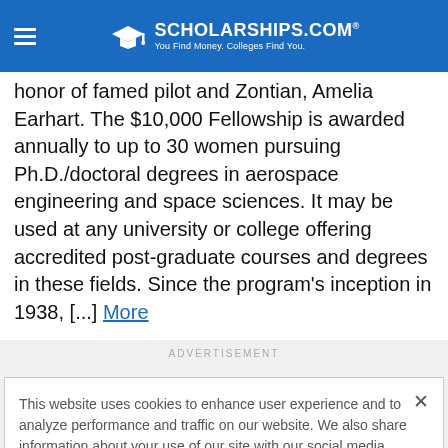SCHOLARSHIPS.COM — You Find Money. Colleges Find You.
honor of famed pilot and Zontian, Amelia Earhart. The $10,000 Fellowship is awarded annually to up to 30 women pursuing Ph.D./doctoral degrees in aerospace engineering and space sciences. It may be used at any university or college offering accredited post-graduate courses and degrees in these fields. Since the program's inception in 1938, [...] More
ADVERTISEMENT
This website uses cookies to enhance user experience and to analyze performance and traffic on our website. We also share information about your use of our site with our social media, advertising and analytics partners.